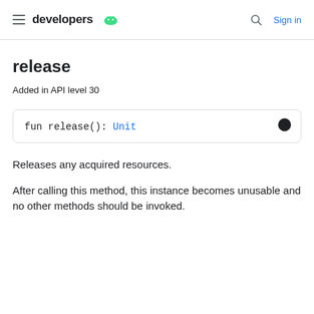developers | Sign in
release
Added in API level 30
Releases any acquired resources.
After calling this method, this instance becomes unusable and no other methods should be invoked.